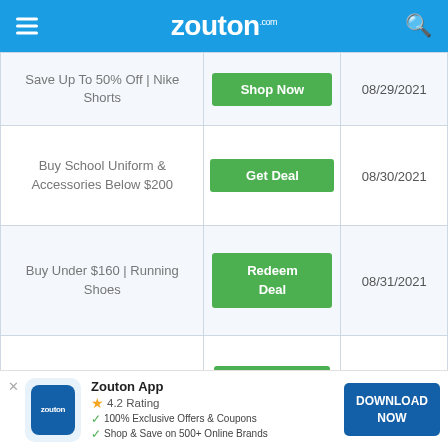zouton.com
| Deal | Action | Expiry |
| --- | --- | --- |
| Save Up To 50% Off | Nike Shorts | Shop Now | 08/29/2021 |
| Buy School Uniform & Accessories Below $200 | Get Deal | 08/30/2021 |
| Buy Under $160 | Running Shoes | Redeem Deal | 08/31/2021 |
| Get 10% Off | Military Discount | Activate Deal | 08/31/2021 |
[Figure (screenshot): Zouton app download banner with app icon, 4.2 rating, features list and download button]
Zouton App 4.2 Rating 100% Exclusive Offers & Coupons Shop & Save on 500+ Online Brands DOWNLOAD NOW